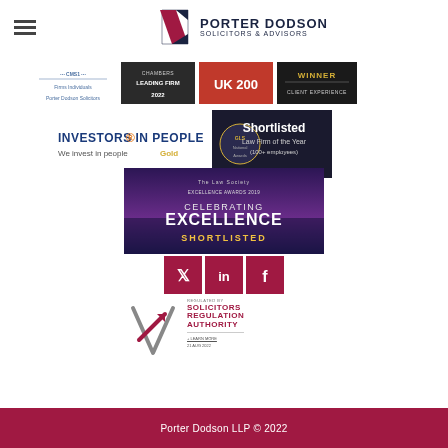[Figure (logo): Porter Dodson Solicitors & Advisors logo with hamburger menu icon]
[Figure (infographic): Row of award badges: CMS1 Firms Individuals, Chambers Leading Firm 2022, UK 200 (red), Winner Client Experience (dark)]
[Figure (infographic): Investors in People Gold badge and GLS National Awards Shortlisted Law Firm of the Year (100+ employees) badge]
[Figure (infographic): The Law Society Excellence Awards 2019 Celebrating Excellence Shortlisted banner]
[Figure (infographic): Social media icons: Twitter, LinkedIn, Facebook (dark red/crimson squares)]
[Figure (infographic): Regulated by Solicitors Regulation Authority logo with arrow, + Learn More, 21 Aug 2022]
Porter Dodson LLP © 2022